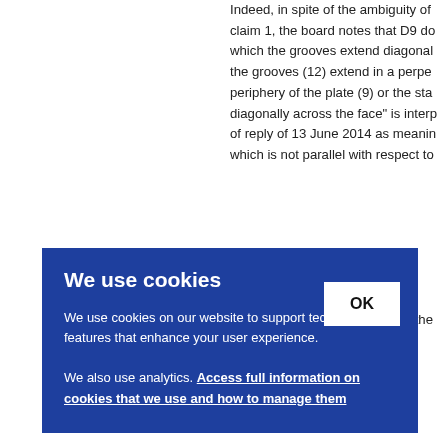Indeed, in spite of the ambiguity of claim 1, the board notes that D9 do which the grooves extend diagonal the grooves (12) extend in a perpe periphery of the plate (9) or the sta diagonally across the face" is interp of reply of 13 June 2014 as meanin which is not parallel with respect to
Furthermore, D9 is silent about the require
[Figure (screenshot): Cookie consent overlay banner on a blue background with title 'We use cookies', body text about cookies and analytics, a link to access full information on cookies, and an OK button.]
es lo es in he dif e, the otimiz